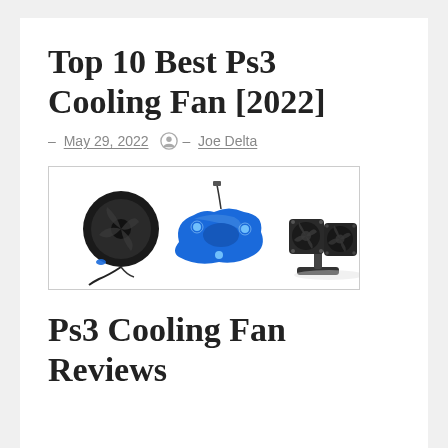Top 10 Best Ps3 Cooling Fan [2022]
– May 29, 2022  – Joe Delta
[Figure (photo): Three PS3 cooling fan products shown side by side: a black internal fan with cable, a blue illuminated cooling pad, and two black external USB fans on a stand.]
Ps3 Cooling Fan Reviews